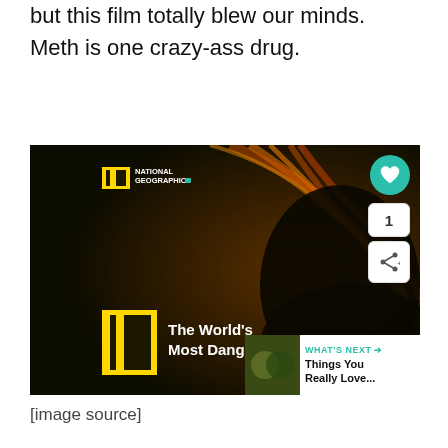but this film totally blew our minds. Meth is one crazy-ass drug.
[Figure (screenshot): Screenshot of a National Geographic video titled 'The World's Most Dangerous Drug' showing a dimly lit profile of a person's face with red-orange hair highlights. UI elements include a heart/like button, share button, and a 'What's Next' panel showing 'Things You Really Love...']
[image source]
[Figure (other): Advertisement banner: Save Up to $100 on Brakes & Rotors at Virginia Tire & Auto]